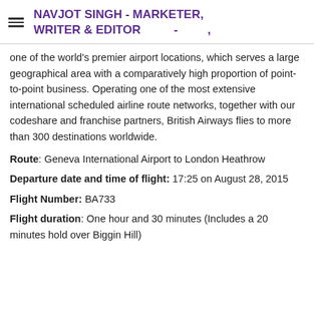NAVJOT SINGH - MARKETER, WRITER & EDITOR - ,
one of the world's premier airport locations, which serves a large geographical area with a comparatively high proportion of point-to-point business. Operating one of the most extensive international scheduled airline route networks, together with our codeshare and franchise partners, British Airways flies to more than 300 destinations worldwide.
Route: Geneva International Airport to London Heathrow
Departure date and time of flight: 17:25 on August 28, 2015
Flight Number: BA733
Flight duration: One hour and 30 minutes (Includes a 20 minutes hold over Biggin Hill)